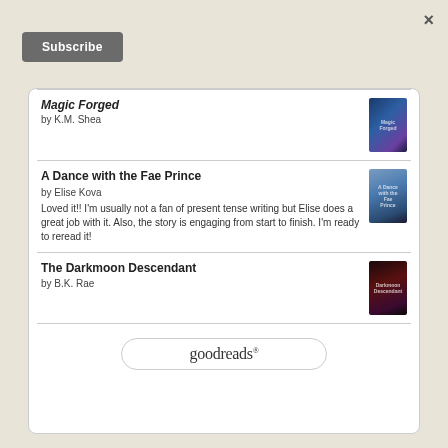×
Subscribe
Magic Forged
by K.M. Shea
A Dance with the Fae Prince
by Elise Kova
Loved it!! I'm usually not a fan of present tense writing but Elise does a great job with it. Also, the story is engaging from start to finish. I'm ready to reread it!
The Darkmoon Descendant
by B.K. Rae
[Figure (logo): goodreads logo in a rounded rectangle box]